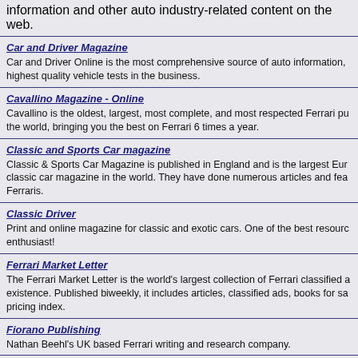information and other auto industry-related content on the web.
Car and Driver Magazine
Car and Driver Online is the most comprehensive source of auto information, highest quality vehicle tests in the business.
Cavallino Magazine - Online
Cavallino is the oldest, largest, most complete, and most respected Ferrari pu the world, bringing you the best on Ferrari 6 times a year.
Classic and Sports Car magazine
Classic & Sports Car Magazine is published in England and is the largest Eur classic car magazine in the world. They have done numerous articles and fea Ferraris.
Classic Driver
Print and online magazine for classic and exotic cars. One of the best resourc enthusiast!
Ferrari Market Letter
The Ferrari Market Letter is the world's largest collection of Ferrari classified a existence. Published biweekly, it includes articles, classified ads, books for sa pricing index.
Fiorano Publishing
Nathan Beehl's UK based Ferrari writing and research company.
Formula 1- The World's Best-selling F1 magazine
Formula 1- The World's Best-selling F1 magazine
Forza Magazine
Print magazine for Ferrari enthusiasts.
1 2 ▶